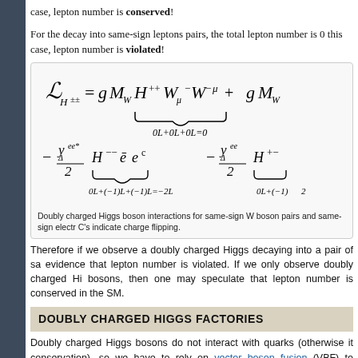case, lepton number is conserved!
For the decay into same-sign leptons pairs, the total lepton number is 0 this case, lepton number is violated!
Doubly charged Higgs boson interactions for same-sign W boson pairs and same-sign electrons. C's indicate charge flipping.
Therefore if we observe a doubly charged Higgs decaying into a pair of same-sign evidence that lepton number is violated. If we only observe doubly charged Higgs into W bosons, then one may speculate that lepton number is conserved in the SM.
DOUBLY CHARGED HIGGS FACTORIES
Doubly charged Higgs bosons do not interact with quarks (otherwise it would violate conservation), so we have to rely on vector boson fusion (VBF) to produce them. from on-coming quarks are radiated and then scatter off each other, as seen i